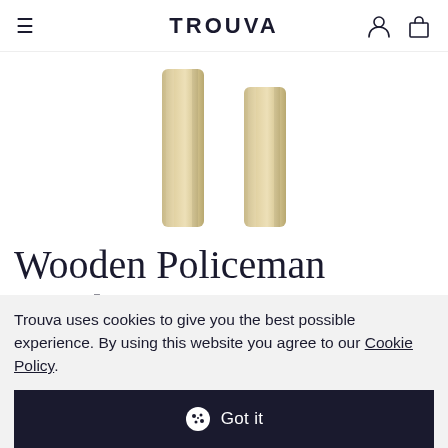TROUVA
[Figure (photo): Two tall wooden cylindrical poles/sticks standing upright, light tan/beige wood color, product image for Wooden Policeman Acrobat]
Wooden Policeman Acrobat
Trouva uses cookies to give you the best possible experience. By using this website you agree to our Cookie Policy.
Got it